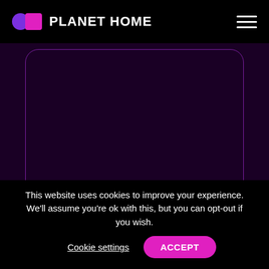[Figure (logo): Planet Home logo with purple and magenta overlapping circle icon and white text 'PLANET HOME']
[Figure (illustration): Dark purple rounded rectangle card outline on dark purple background]
Google Maps is Making Moves for
This website uses cookies to improve your experience. We'll assume you're ok with this, but you can opt-out if you wish.
Cookie settings  ACCEPT